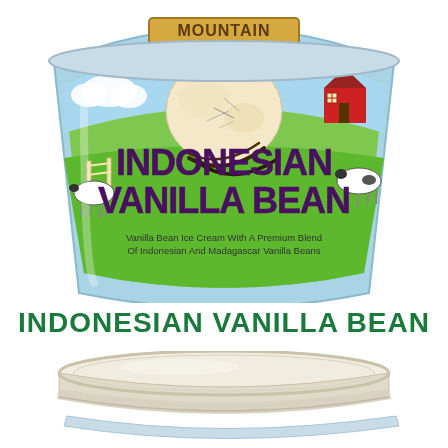[Figure (photo): Photo of a Mountain Creamery ice cream tub. The label features a green cartoon farm scene with cows and a red barn. The product name 'INDONESIAN VANILLA BEAN' is written in large dark purple/maroon letters. A scoop of vanilla bean ice cream with vanilla beans is shown. Text on the label reads: 'Vanilla Bean Ice Cream With A Premium Blend Of Indonesian And Madagascar Vanilla Beans'. The top of the tub shows 'MOUNTAIN CREAMERY' branding.]
INDONESIAN VANILLA BEAN
[Figure (photo): Photo of the white/cream colored lid of an ice cream tub, viewed from above at a slight angle. The lid is circular with ribbed edges. Below the lid, the top edge of a light blue ice cream container is partially visible.]